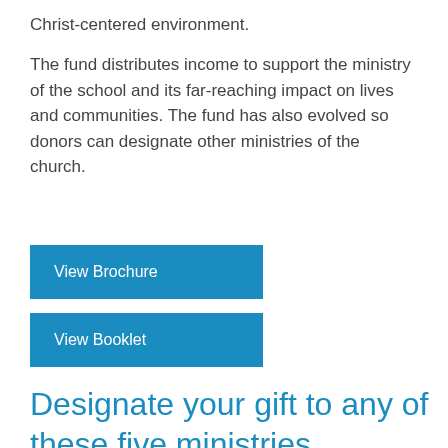Christ-centered environment.
The fund distributes income to support the ministry of the school and its far-reaching impact on lives and communities. The fund has also evolved so donors can designate other ministries of the church.
View Brochure
View Booklet
Designate your gift to any of these five ministries